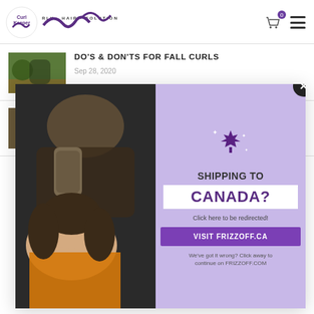[Figure (logo): Curl Keeper and Curly Hair Solutions logos]
[Figure (photo): Autumn scene with curly-haired woman]
DO'S & DON'TS FOR FALL CURLS
Sep 28, 2020
[Figure (photo): Woman with curly hair]
HOW TO DETANGLE CURLS BREAKAGE FREE
Sep 15, 2020
[Figure (photo): Popup overlay: two women lying on grass, one smiling in foreground wearing orange, one in background; Canadian shipping popup with maple leaf icon]
SHIPPING TO CANADA? Click here to be redirected! VISIT FRIZZOFF.CA We've got it wrong? Click away to continue on FRIZZOFF.COM